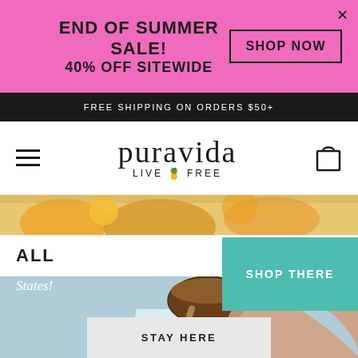END OF SUMMER SALE! 40% OFF SITEWIDE | SHOP NOW
FREE SHIPPING ON ORDERS $50+
puravida LIVE FREE
[Figure (photo): Close-up lifestyle photo of tropical fruits and food from above]
ALL
[Figure (photo): Person pouring coconut into a blender, wearing a Pura Vida bracelet on their wrist]
Hey! We think you're in United States!
SHOP THERE
STAY HERE